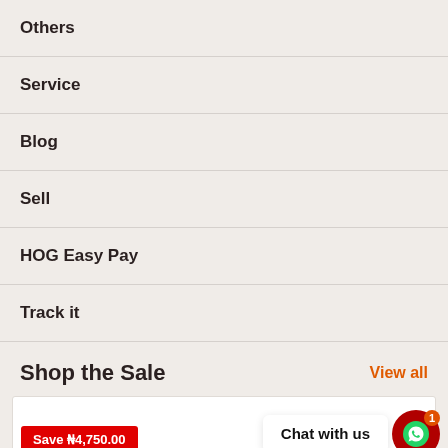Others
Service
Blog
Sell
HOG Easy Pay
Track it
Shop the Sale
View all
Save ₦4,750.00
Chat with us